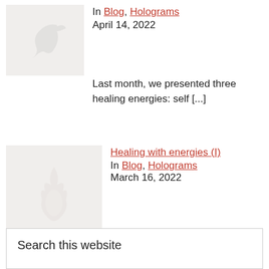[Figure (illustration): Thumbnail image with faint bird/arrow silhouette on light background]
In Blog, Holograms
April 14, 2022
Last month, we presented three healing energies: self [...]
[Figure (illustration): Thumbnail image with faint flame/figure silhouette on light background]
Healing with energies (I)
In Blog, Holograms
March 16, 2022
Healing with energies: what energies ? The healing [...]
Search this website